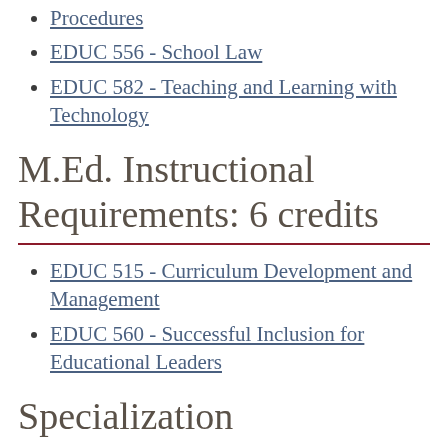Procedures
EDUC 556 - School Law
EDUC 582 - Teaching and Learning with Technology
M.Ed. Instructional Requirements: 6 credits
EDUC 515 - Curriculum Development and Management
EDUC 560 - Successful Inclusion for Educational Leaders
Specialization